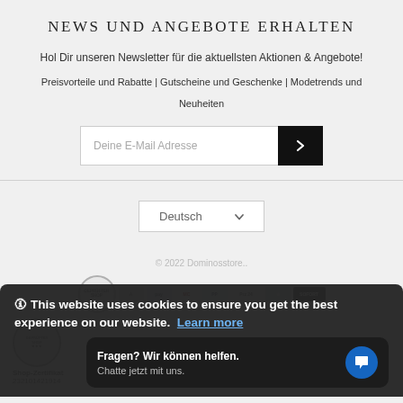NEWS UND ANGEBOTE ERHALTEN
Hol Dir unseren Newsletter für die aktuellsten Aktionen & Angebote!
Preisvorteile und Rabatte | Gutscheine und Geschenke | Modetrends und Neuheiten
[Figure (screenshot): Email signup input field with placeholder 'Deine E-Mail Adresse' and a black submit button with right-arrow chevron]
[Figure (screenshot): Language selector dropdown showing 'Deutsch' with chevron]
© 2022 Dominosstore..
[Figure (screenshot): Row of payment method logos including various credit cards and payment services, plus a GEPRÜFTER SHOP badge and Shop-Zertifikat 232101421914]
🛈 This website uses cookies to ensure you get the best experience on our website.  Learn more
Fragen? Wir können helfen.
Chatte jetzt mit uns.